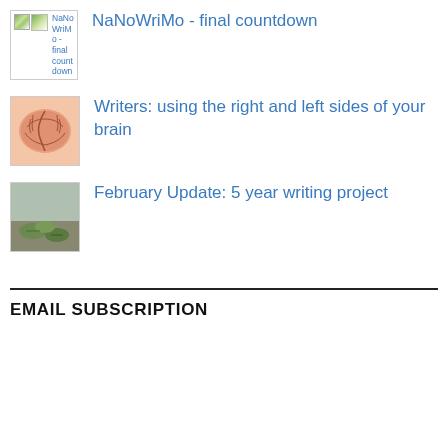NaNoWriMo - final countdown
Writers: using the right and left sides of your brain
February Update: 5 year writing project
EMAIL SUBSCRIPTION